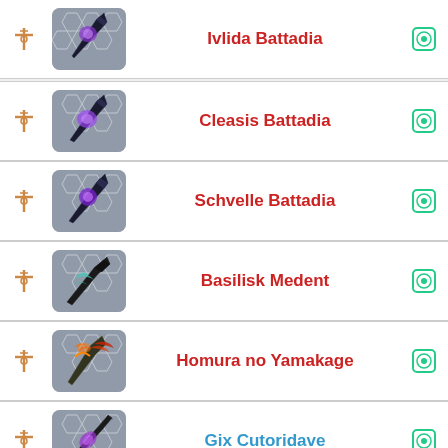Ivlida Battadia
Cleasis Battadia
Schvelle Battadia
Basilisk Medent
Homura no Yamakage
Gix Cutoridave